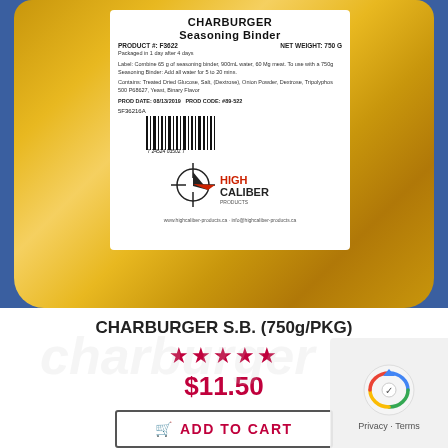[Figure (photo): Product photo of CHARBURGER Seasoning Binder in a gold metallic bag with a white label showing product details, barcode, High Caliber Products logo, product number F3622, net weight 750G, prod date 08/13/2019.]
CHARBURGER S.B. (750g/PKG)
★★★★★
$11.50
ADD TO CART
Privacy · Terms